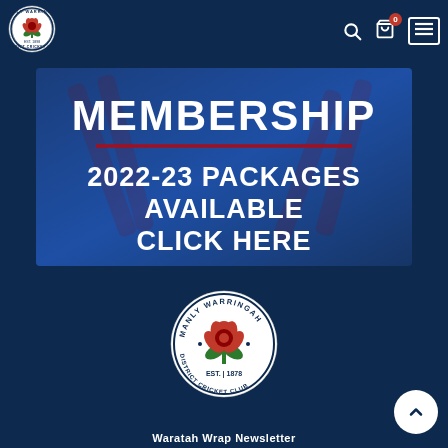[Figure (logo): Manly Warringah District Cricket Club circular logo — top left header]
[Figure (infographic): Membership banner: dark blue background with red horizontal divider line. Text reads MEMBERSHIP in large white bold letters, then 2022-23 PACKAGES AVAILABLE CLICK HERE]
[Figure (logo): Manly Warringah District Cricket Club circular logo — center of page]
Waratah Wrap Newsletter